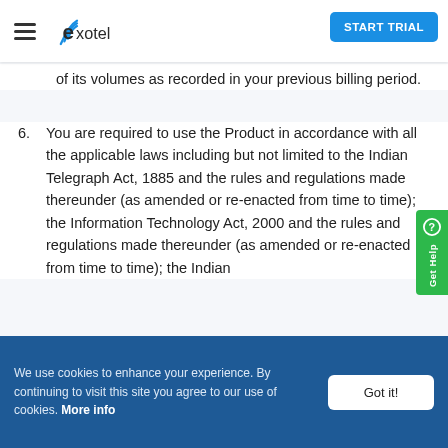Exotel — START TRIAL
of its volumes as recorded in your previous billing period.
6. You are required to use the Product in accordance with all the applicable laws including but not limited to the Indian Telegraph Act, 1885 and the rules and regulations made thereunder (as amended or re-enacted from time to time); the Information Technology Act, 2000 and the rules and regulations made thereunder (as amended or re-enacted from time to time); the Indian
We use cookies to enhance your experience. By continuing to visit this site you agree to our use of cookies. More info